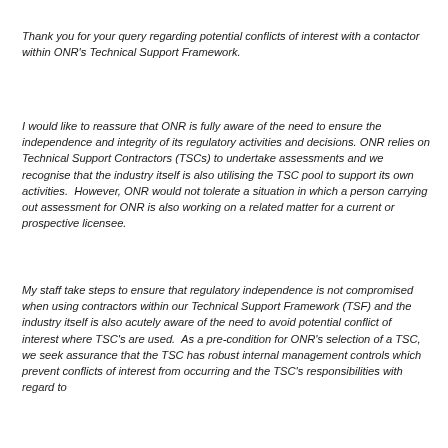Thank you for your query regarding potential conflicts of interest with a contactor within ONR's Technical Support Framework.
I would like to reassure that ONR is fully aware of the need to ensure the independence and integrity of its regulatory activities and decisions. ONR relies on Technical Support Contractors (TSCs) to undertake assessments and we recognise that the industry itself is also utilising the TSC pool to support its own activities.  However, ONR would not tolerate a situation in which a person carrying out assessment for ONR is also working on a related matter for a current or prospective licensee.
My staff take steps to ensure that regulatory independence is not compromised when using contractors within our Technical Support Framework (TSF) and the industry itself is also acutely aware of the need to avoid potential conflict of interest where TSC's are used.  As a pre-condition for ONR's selection of a TSC, we seek assurance that the TSC has robust internal management controls which prevent conflicts of interest from occurring and the TSC's responsibilities with regard to